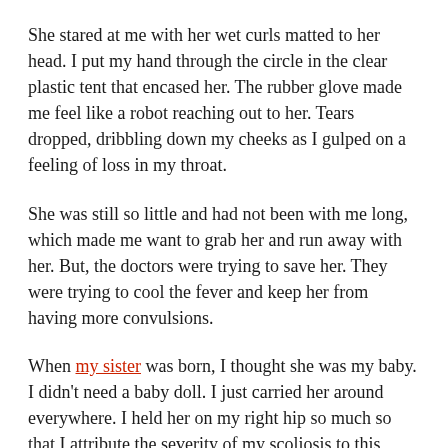She stared at me with her wet curls matted to her head. I put my hand through the circle in the clear plastic tent that encased her. The rubber glove made me feel like a robot reaching out to her. Tears dropped, dribbling down my cheeks as I gulped on a feeling of loss in my throat.
She was still so little and had not been with me long, which made me want to grab her and run away with her. But, the doctors were trying to save her. They were trying to cool the fever and keep her from having more convulsions.
When my sister was born, I thought she was my baby. I didn't need a baby doll. I just carried her around everywhere. I held her on my right hip so much so that I attribute the severity of my scoliosis to this strange